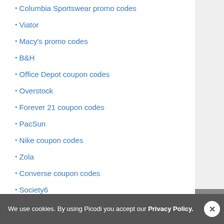Columbia Sportswear promo codes
Viator
Macy's promo codes
B&H
Office Depot coupon codes
Overstock
Forever 21 coupon codes
PacSun
Nike coupon codes
Zola
Converse coupon codes
Society6
CheapOair voucher codes
GNC
Nasty Gal
We use cookies. By using Picodi you accept our Privacy Policy.